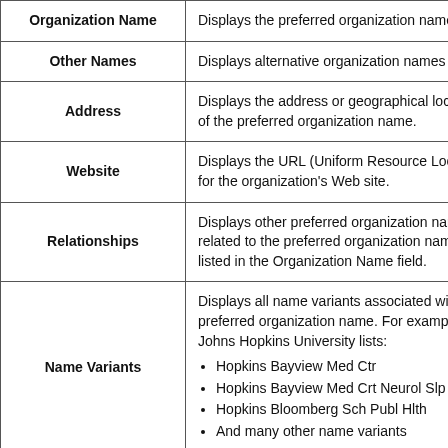| Field | Description |
| --- | --- |
| Organization Name | Displays the preferred organization name |
| Other Names | Displays alternative organization names |
| Address | Displays the address or geographical location of the preferred organization name. |
| Website | Displays the URL (Uniform Resource Locator) for the organization's Web site. |
| Relationships | Displays other preferred organization names related to the preferred organization name listed in the Organization Name field. |
| Name Variants | Displays all name variants associated with the preferred organization name. For example, Johns Hopkins University lists:
• Hopkins Bayview Med Ctr
• Hopkins Bayview Med Crt Neurol Slp Med
• Hopkins Bloomberg Sch Publ Hlth
• And many other name variants |